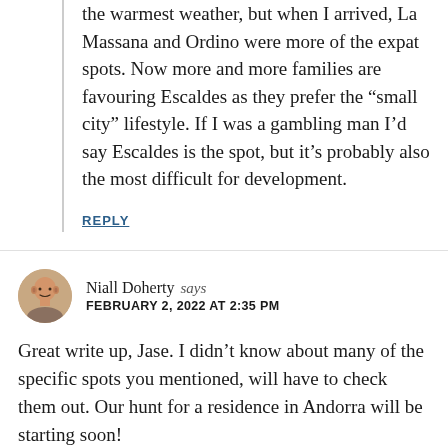the warmest weather, but when I arrived, La Massana and Ordino were more of the expat spots. Now more and more families are favouring Escaldes as they prefer the “small city” lifestyle. If I was a gambling man I’d say Escaldes is the spot, but it’s probably also the most difficult for development.
REPLY
Niall Doherty says
FEBRUARY 2, 2022 AT 2:35 PM
Great write up, Jase. I didn’t know about many of the specific spots you mentioned, will have to check them out. Our hunt for a residence in Andorra will be starting soon!